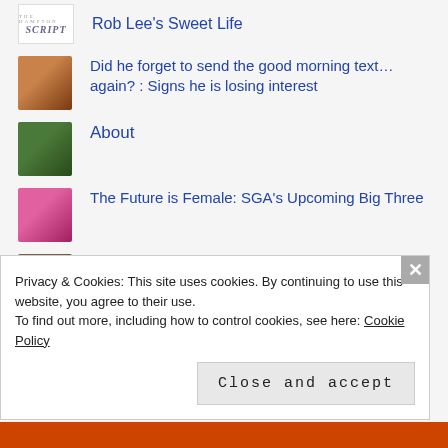Rob Lee's Sweet Life
Did he forget to send the good morning text... again? : Signs he is losing interest
About
The Future is Female: SGA's Upcoming Big Three
The arrival of Legacy Park
Privacy & Cookies: This site uses cookies. By continuing to use this website, you agree to their use.
To find out more, including how to control cookies, see here: Cookie Policy
Close and accept